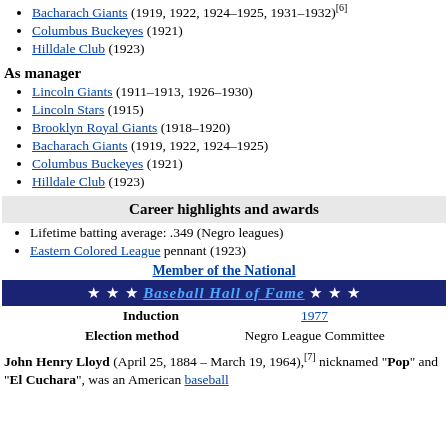Bacharach Giants (1919, 1922, 1924–1925, 1931–1932)[6]
Columbus Buckeyes (1921)
Hilldale Club (1923)
As manager
Lincoln Giants (1911–1913, 1926–1930)
Lincoln Stars (1915)
Brooklyn Royal Giants (1918–1920)
Bacharach Giants (1919, 1922, 1924–1925)
Columbus Buckeyes (1921)
Hilldale Club (1923)
| Career highlights and awards |
| --- |
| Lifetime batting average: .349 (Negro leagues) |
| Eastern Colored League pennant (1923) |
| Member of the National |
| ★ ★ ★ Baseball Hall of Fame ★ ★ ★ |
| Induction | 1977 |
| Election method | Negro League Committee |
John Henry Lloyd (April 25, 1884 – March 19, 1964),[7] nicknamed "Pop" and "El Cuchara", was an American baseball